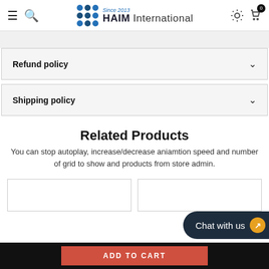HAIM International — Since 2013
Refund policy
Shipping policy
Related Products
You can stop autoplay, increase/decrease aniamtion speed and number of grid to show and products from store admin.
Chat with us
ADD TO CART